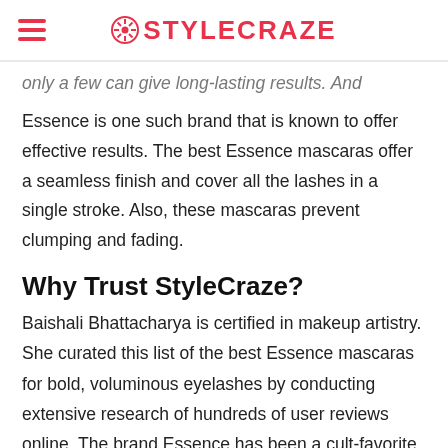STYLECRAZE
only a few can give long-lasting results. And Essence is one such brand that is known to offer effective results. The best Essence mascaras offer a seamless finish and cover all the lashes in a single stroke. Also, these mascaras prevent clumping and fading.
Why Trust StyleCraze?
Baishali Bhattacharya is certified in makeup artistry. She curated this list of the best Essence mascaras for bold, voluminous eyelashes by conducting extensive research of hundreds of user reviews online. The brand Essence has been a cult-favorite for its mascaras as they are affordable and cruelty-